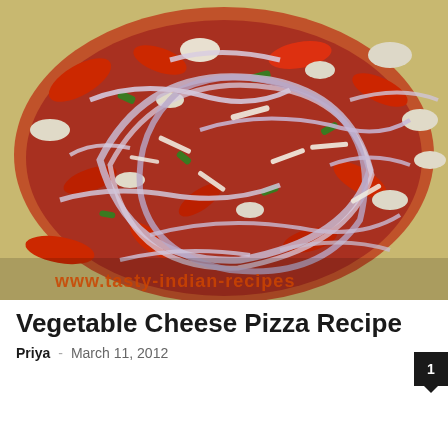[Figure (photo): Photo of a vegetable cheese pizza topped with sliced onions, red peppers, green peppers, cauliflower, and cheese. A watermark reads 'www.tasty-indian-recipes' at the bottom of the image.]
Vegetable Cheese Pizza Recipe
Priya · March 11, 2012